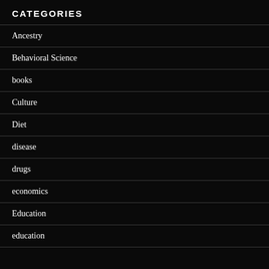CATEGORIES
Ancestry
Behavioral Science
books
Culture
Diet
disease
drugs
economics
Education
education